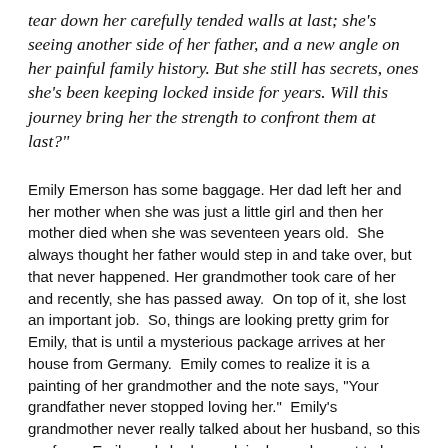tear down her carefully tended walls at last; she's seeing another side of her father, and a new angle on her painful family history. But she still has secrets, ones she's been keeping locked inside for years. Will this journey bring her the strength to confront them at last?"
Emily Emerson has some baggage. Her dad left her and her mother when she was just a little girl and then her mother died when she was seventeen years old.  She always thought her father would step in and take over, but that never happened. Her grandmother took care of her and recently, she has passed away.  On top of it, she lost an important job.  So, things are looking pretty grim for Emily, that is until a mysterious package arrives at her house from Germany.  Emily comes to realize it is a painting of her grandmother and the note says, "Your grandfather never stopped loving her."  Emily's grandmother never really talked about her husband, so this confuses Emily and she begrudgingly reaches out to her father.  Emily's father is pleased by this as he has been trying to make amends for quite some time.  As